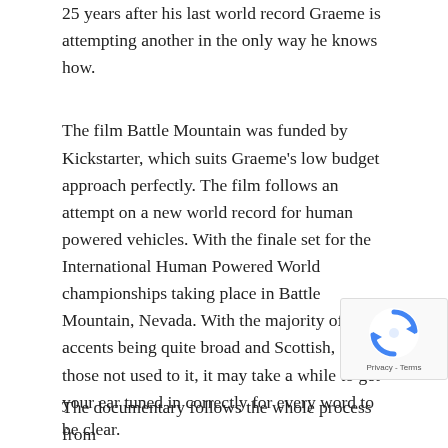25 years after his last world record Graeme is attempting another in the only way he knows how.
The film Battle Mountain was funded by Kickstarter, which suits Graeme's low budget approach perfectly. The film follows an attempt on a new world record for human powered vehicles. With the finale set for the International Human Powered World championships taking place in Battle Mountain, Nevada. With the majority of accents being quite broad and Scottish, for those not used to it, it may take a while to get your ear tuned in correctly for every word to be clear.
[Figure (logo): reCAPTCHA badge with Privacy and Terms links]
The documentary follows the whole process from